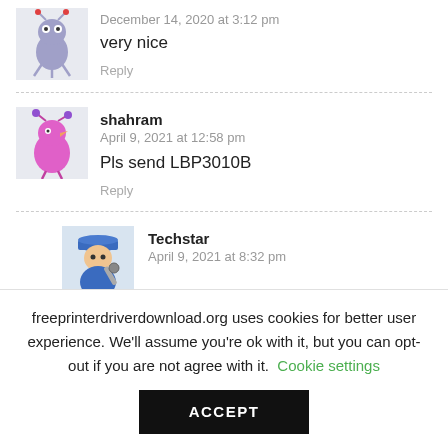December 14, 2020 at 3:12 pm
very nice
Reply
shahram
April 9, 2021 at 12:58 pm
Pls send LBP3010B
Reply
Techstar
April 9, 2021 at 8:32 pm
freeprinterdriverdownload.org uses cookies for better user experience. We'll assume you're ok with it, but you can opt-out if you are not agree with it. Cookie settings
ACCEPT